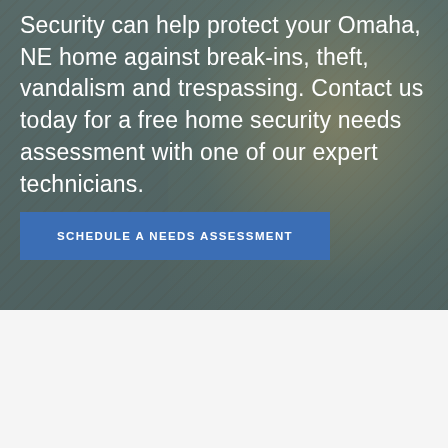Security can help protect your Omaha, NE home against break-ins, theft, vandalism and trespassing. Contact us today for a free home security needs assessment with one of our expert technicians.
SCHEDULE A NEEDS ASSESSMENT
Benefits of Residential Video Security